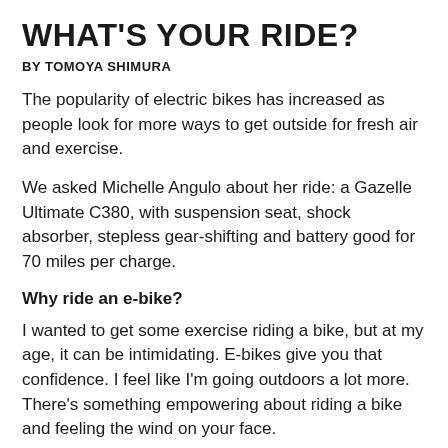WHAT'S YOUR RIDE?
BY TOMOYA SHIMURA
The popularity of electric bikes has increased as people look for more ways to get outside for fresh air and exercise.
We asked Michelle Angulo about her ride: a Gazelle Ultimate C380, with suspension seat, shock absorber, stepless gear-shifting and battery good for 70 miles per charge.
Why ride an e-bike?
I wanted to get some exercise riding a bike, but at my age, it can be intimidating. E-bikes give you that confidence. I feel like I'm going outdoors a lot more. There's something empowering about riding a bike and feeling the wind on your face.
What are the benefits?